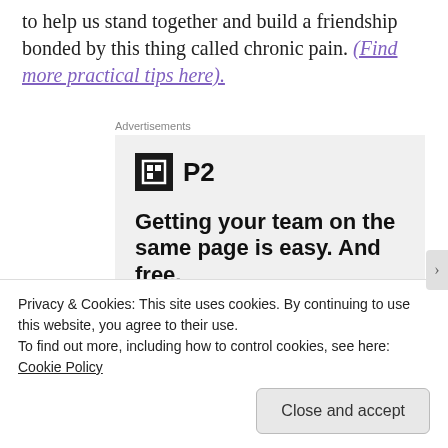to help us stand together and build a friendship bonded by this thing called chronic pain. (Find more practical tips here).
Advertisements
[Figure (other): Advertisement for P2 workspace tool. Shows P2 logo (dark square icon with letter H and text P2), headline reading 'Getting your team on the same page is easy. And free.' with circular avatar photos of team members at the bottom.]
Privacy & Cookies: This site uses cookies. By continuing to use this website, you agree to their use.
To find out more, including how to control cookies, see here: Cookie Policy